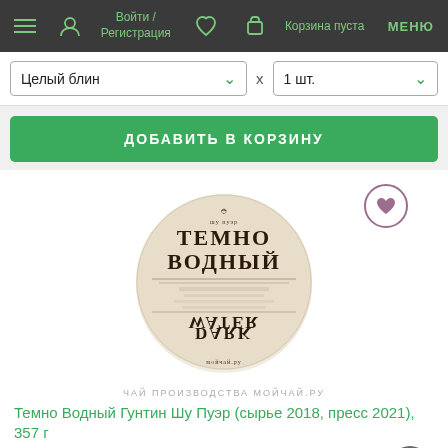Войти / Регистрация  Корзина пуста  МЕНЮ
Целый блин  x  1 шт.
ДОБАВИТЬ В КОРЗИНУ
[Figure (photo): Round tea cake (pu-erh) with label reading ТЕМНО ВОДНЫЙ / DARK WATER, beige/cream colored disc]
ЧАЙ ПРОИЗВОДСТВА МОЙЧАЙ.РУ
Темно Водный Гунтин Шу Пуэр (сырье 2018, пресс 2021), 357 г
2603.0 р